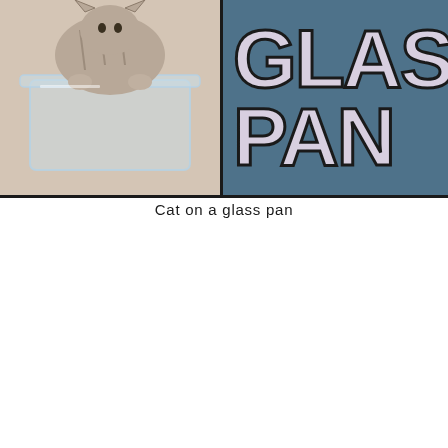[Figure (photo): Two-panel composite image top: left panel shows a cat sitting on a clear glass pan viewed from below, right panel shows large stylized text 'GLAS PAN' in lavender with dark outline on steel blue background]
Cat on a glass pan
[Figure (photo): Two-panel composite image bottom: left panel shows a person's face close-up with a tabby cat nuzzling against them, right panel shows large stylized text 'ALL Y NEED' in lavender with dark outline on sage green background, with a circular menu button overlay]